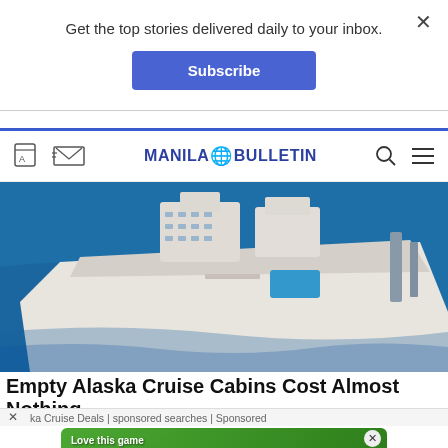Get the top stories delivered daily to your inbox.
Subscribe
[Figure (screenshot): Manila Bulletin website navigation bar with translate icon, mail icon, logo, search and hamburger menu icons]
[Figure (photo): Aerial view of a large cruise ship on blue ocean water]
Empty Alaska Cruise Cabins Cost Almost Nothing
ka Cruise Deals | sponsored searches | Sponsored
[Figure (screenshot): Mobile game advertisement: Love this game Can't stop playing! Download Now - Bubble Shooter Animal World]